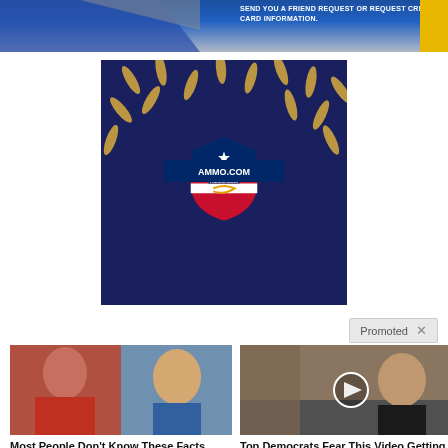[Figure (screenshot): Top banner with blue and gray gradient background, white bold text warning about credit card information, yellow bar on right]
[Figure (photo): Ammo.com advertisement showing bullets on dark blue background with Ammo.com shield logo in center]
Promoted X
[Figure (photo): Split photo of Jen Psaki (left, red hair, red top) and Donald Trump (right, blue background)]
Most People Don't Know These Facts About Jen Psaki (#2 Is Shocking!)
49,661
[Figure (photo): Video thumbnail of Kamala Harris smiling outdoors near a building, play button overlay]
Top Democrats Fear This Video Getting Out — Watch Now Before It's Banned
32,906